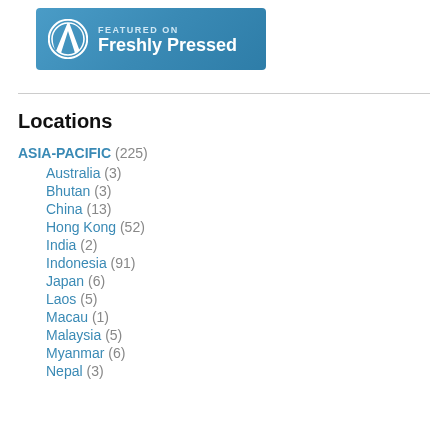[Figure (logo): WordPress 'Featured on Freshly Pressed' banner with WordPress logo on blue background]
Locations
ASIA-PACIFIC (225)
Australia (3)
Bhutan (3)
China (13)
Hong Kong (52)
India (2)
Indonesia (91)
Japan (6)
Laos (5)
Macau (1)
Malaysia (5)
Myanmar (6)
Nepal (3)